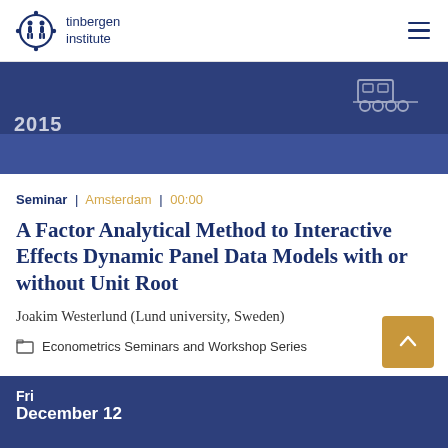tinbergen institute
[Figure (illustration): Tinbergen Institute logo — circular icon with stylized figures in dark navy blue]
Seminar | Amsterdam | 00:00
A Factor Analytical Method to Interactive Effects Dynamic Panel Data Models with or without Unit Root
Joakim Westerlund (Lund university, Sweden)
Econometrics Seminars and Workshop Series
Fri
December 12